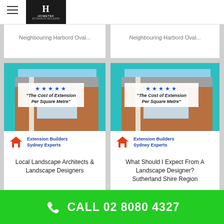Hometek
[Figure (screenshot): Partially visible article card top-left: Neighbouring Habord Oval]
[Figure (screenshot): Partially visible article card top-right: Neighbouring Habord Oval]
[Figure (photo): Article image showing a house extension with teal trim, brick wall, grey tiled roof, stars review badge and 'The Cost of Extension Per Square Metre' overlay. Extension Builders Sydney Experts logo at bottom.]
Local Landscape Architects & Landscape Designers
[Figure (photo): Article image showing a house extension with teal trim, brick wall, grey tiled roof, stars review badge and 'The Cost of Extension Per Square Metre' overlay. Extension Builders Sydney Experts logo at bottom.]
What Should I Expect From A Landscape Designer? Sutherland Shire Region
[Figure (photo): Partially visible article image at bottom-left showing a house/building exterior]
[Figure (photo): Partially visible article image at bottom-right showing a house/building exterior]
CALL 02 8080 4327